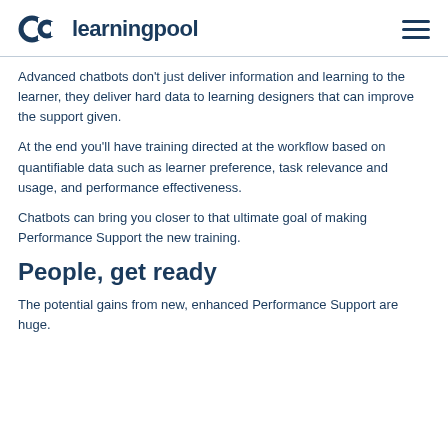learningpool
Advanced chatbots don't just deliver information and learning to the learner, they deliver hard data to learning designers that can improve the support given.
At the end you'll have training directed at the workflow based on quantifiable data such as learner preference, task relevance and usage, and performance effectiveness.
Chatbots can bring you closer to that ultimate goal of making Performance Support the new training.
People, get ready
The potential gains from new, enhanced Performance Support are huge.